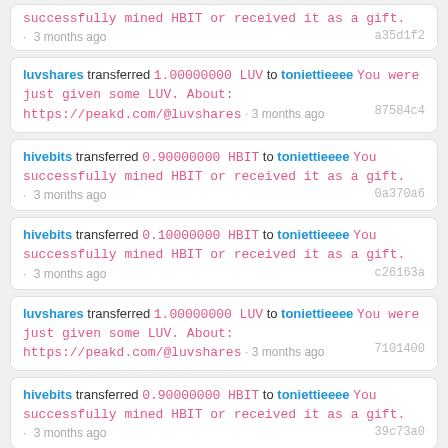successfully mined HBIT or received it as a gift. · 3 months ago  a35d1f2
luvshares transferred 1.00000000 LUV to toniettieeee You were just given some LUV. About: https://peakd.com/@luvshares · 3 months ago  87584c4
hivebits transferred 0.90000000 HBIT to toniettieeee You successfully mined HBIT or received it as a gift. · 3 months ago  0a370a6
hivebits transferred 0.10000000 HBIT to toniettieeee You successfully mined HBIT or received it as a gift. · 3 months ago  c26163a
luvshares transferred 1.00000000 LUV to toniettieeee You were just given some LUV. About: https://peakd.com/@luvshares · 3 months ago  7101400
hivebits transferred 0.90000000 HBIT to toniettieeee You successfully mined HBIT or received it as a gift. · 3 months ago  39c73a0
hivebits transferred 0.10000000 HBIT to toniettieeee You successfully mined HBIT or received it as a gift.